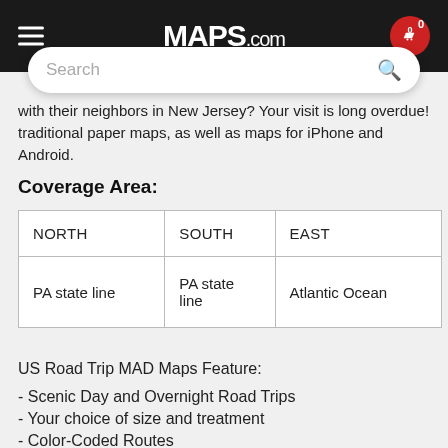MAPS.com
with their neighbors in New Jersey? Your visit is long overdue! traditional paper maps, as well as maps for iPhone and Android.
Coverage Area:
| NORTH | SOUTH | EAST |
| --- | --- | --- |
| PA state line | PA state line | Atlantic Ocean |
US Road Trip MAD Maps Feature:
- Scenic Day and Overnight Road Trips
- Your choice of size and treatment
- Color-Coded Routes